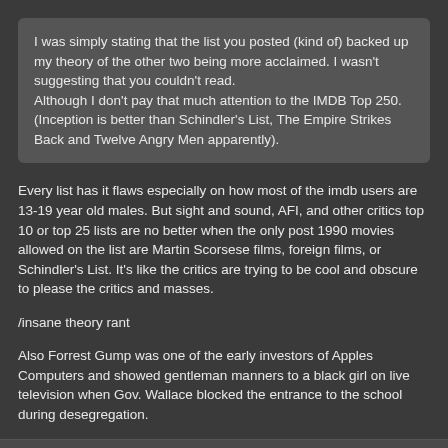I was simply stating that the list you posted (kind of) backed up my theory of the other two being more acclaimed. I wasn't suggesting that you couldn't read.
Although I don't pay that much attention to the IMDB Top 250. (Inception is better than Schindler's List, The Empire Strikes Back and Twelve Angry Men apparently).
Every list has it flaws especially on how most of the imdb users are 13-19 year old males. But sight and sound, AFI, and other critics top 10 or top 25 lists are no better when the only post 1990 movies allowed on the list are Martin Scorsese films, foreign films, or Schindler's List. It's like the critics are trying to be cool and obscure to please the critics and masses.
/insane theory rant
Also Forrest Gump was one of the early investors of Apples Computers and showed gentleman manners to a black girl on live television when Gov. Wallace blocked the entrance to the school during desegregation.
SPONSORED
Crita